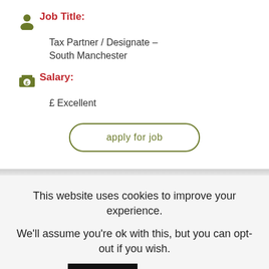Job Title:
Tax Partner / Designate – South Manchester
Salary:
£  Excellent
apply for job
This website uses cookies to improve your experience.
We'll assume you're ok with this, but you can opt-out if you wish.
Accept
Read More